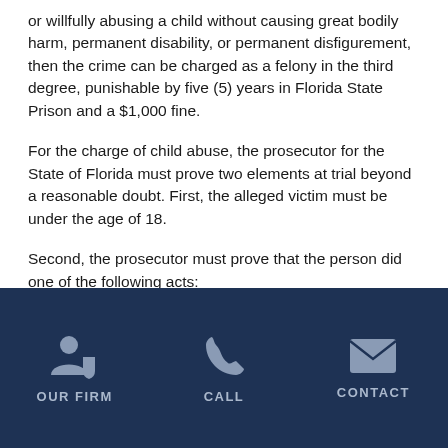or willfully abusing a child without causing great bodily harm, permanent disability, or permanent disfigurement, then the crime can be charged as a felony in the third degree, punishable by five (5) years in Florida State Prison and a $1,000 fine.
For the charge of child abuse, the prosecutor for the State of Florida must prove two elements at trial beyond a reasonable doubt. First, the alleged victim must be under the age of 18.
Second, the prosecutor must prove that the person did one of the following acts:
1. intentionally inflicted physical or mental injury upon the alleged victim;
OUR FIRM | CALL | CONTACT